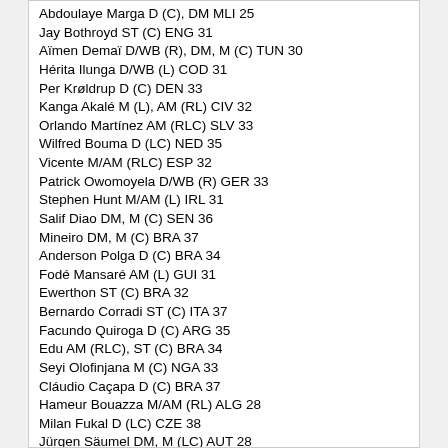Abdoulaye Marga D (C), DM MLI 25
Jay Bothroyd ST (C) ENG 31
Aïmen Demaï D/WB (R), DM, M (C) TUN 30
Hérita Ilunga D/WB (L) COD 31
Per Krøldrup D (C) DEN 33
Kanga Akalé M (L), AM (RL) CIV 32
Orlando Martínez AM (RLC) SLV 33
Wilfred Bouma D (LC) NED 35
Vicente M/AM (RLC) ESP 32
Patrick Owomoyela D/WB (R) GER 33
Stephen Hunt M/AM (L) IRL 31
Salif Diao DM, M (C) SEN 36
Mineiro DM, M (C) BRA 37
Anderson Polga D (C) BRA 34
Fodé Mansaré AM (L) GUI 31
Ewerthon ST (C) BRA 32
Bernardo Corradi ST (C) ITA 37
Facundo Quiroga D (C) ARG 35
Edu AM (RLC), ST (C) BRA 34
Seyi Olofinjana M (C) NGA 33
Cláudio Caçapa D (C) BRA 37
Hameur Bouazza M/AM (RL) ALG 28
Milan Fukal D (LC) CZE 38
Jürgen Säumel DM, M (LC) AUT 28
Yacine Abdessadki M/AM (R) MAR 32
Pablo Ibáñez D (C) ESP 31
Kandia Traoré ST (C) CIV 33
Marcinho AM (RLC), ST (C) BRA 32
Tiago Silva D (LC), WB (L), DM, M (L) BUL 34
Ernane M/AM (RC) BRA 28
Yamith Cuesta D (C) COL 24
Gustavo Aprile WB/M/AM (L) URU 24
Nconco ST (C) GNB 22
Jermaine Grandison D (RC) GUY 22
Amiran Sanaia D/WB (L) GEO 23
Henry ST (C) NGA 24
Papa Bouba Diop DM, M (C) SEN 35
Prince Buaben M (C) GHA 25